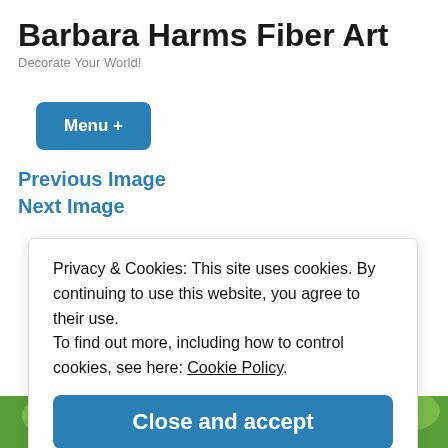Barbara Harms Fiber Art
Decorate Your World!
Menu +
Previous Image
Next Image
Privacy & Cookies: This site uses cookies. By continuing to use this website, you agree to their use.
To find out more, including how to control cookies, see here: Cookie Policy
Close and accept
[Figure (photo): Colorful fiber art image with red flowers and green leaves at the bottom of the page]